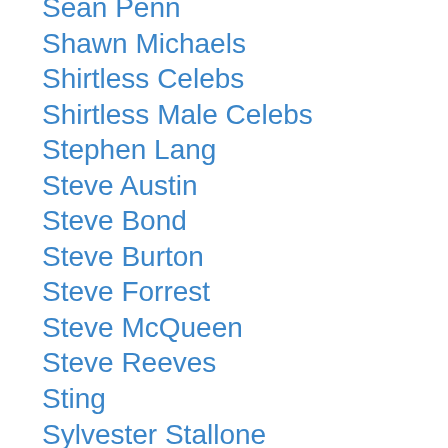Sean Penn
Shawn Michaels
Shirtless Celebs
Shirtless Male Celebs
Stephen Lang
Steve Austin
Steve Bond
Steve Burton
Steve Forrest
Steve McQueen
Steve Reeves
Sting
Sylvester Stallone
Tab Hunter
Taye Diggs